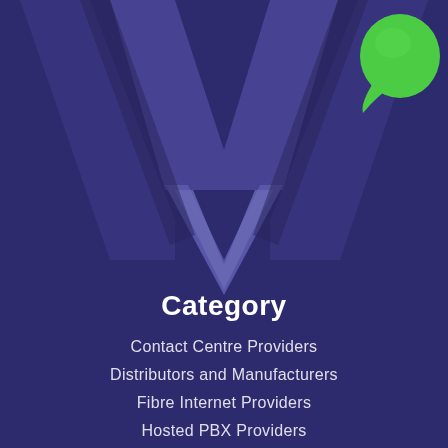[Figure (logo): Large stylized W logo in dark purple/indigo tones on a deep purple background, with a green leaf/speech bubble icon in the top right corner]
Category
Contact Centre Providers
Distributors and Manufacturers
Fibre Internet Providers
Hosted PBX Providers
Telephone Management
Phone System Providers